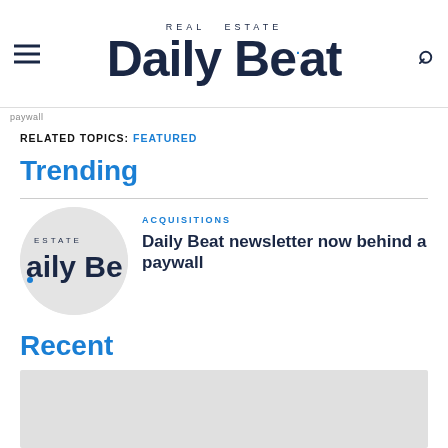REAL ESTATE Daily Beat
paywall
RELATED TOPICS: FEATURED
Trending
[Figure (logo): Real Estate Daily Beat circular logo thumbnail]
ACQUISITIONS
Daily Beat newsletter now behind a paywall
Recent
[Figure (photo): Light grey placeholder image for recent article]